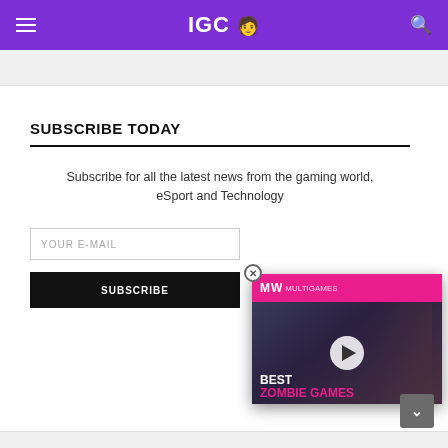IGC
SUBSCRIBE TODAY
Subscribe for all the latest news from the gaming world, eSport and Technology
[Figure (screenshot): Video popup showing 'BEST ZOMBIE GAMES' with a play button and MW logo header in pink/magenta]
YOUR E-MAIL
SUBSCRIBE